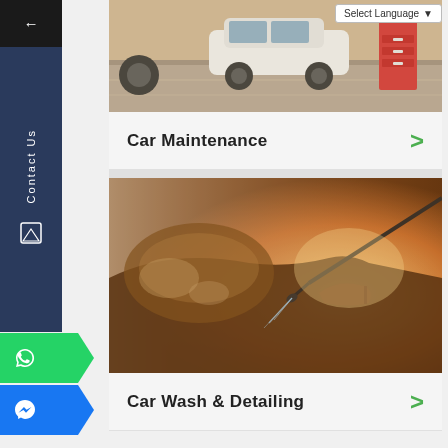[Figure (screenshot): Select Language dropdown button in top right corner]
[Figure (photo): Car maintenance garage interior with car, tires, red tool cabinet, and equipment]
Car Maintenance
[Figure (photo): Car wash and detailing photo showing a car being washed with a pressure washer, warm golden tones]
Car Wash & Detailing